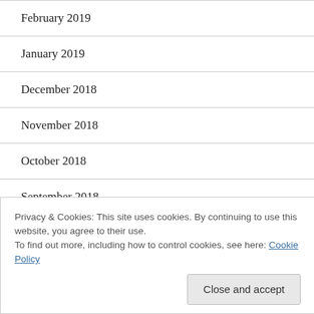February 2019
January 2019
December 2018
November 2018
October 2018
September 2018
August 2018
Privacy & Cookies: This site uses cookies. By continuing to use this website, you agree to their use.
To find out more, including how to control cookies, see here: Cookie Policy
April 2018